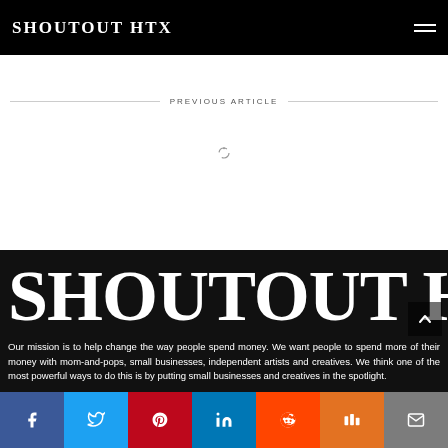SHOUTOUT HTX
PREVIOUS ARTICLE
[Figure (other): Loading spinner circle icon]
[Figure (logo): Large SHOUTOUT HTX logo in white on black background]
Our mission is to help change the way people spend money. We want people to spend more of their money with mom-and-pops, small businesses, independent artists and creatives. We think one of the most powerful ways to do this is by putting small businesses and creatives in the spotlight.
[Figure (infographic): Social sharing bar with Facebook, Twitter, Pinterest, LinkedIn, Reddit, Mix, and Email buttons]